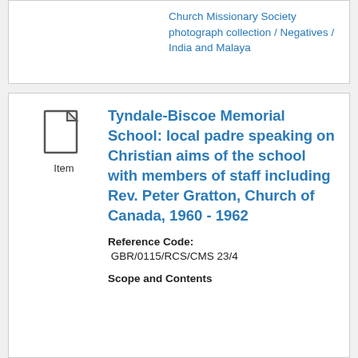Church Missionary Society photograph collection / Negatives / India and Malaya
[Figure (other): Document/Item icon — a page with folded corner]
Item
Tyndale-Biscoe Memorial School: local padre speaking on Christian aims of the school with members of staff including Rev. Peter Gratton, Church of Canada, 1960 - 1962
Reference Code: GBR/0115/RCS/CMS 23/4
Scope and Contents